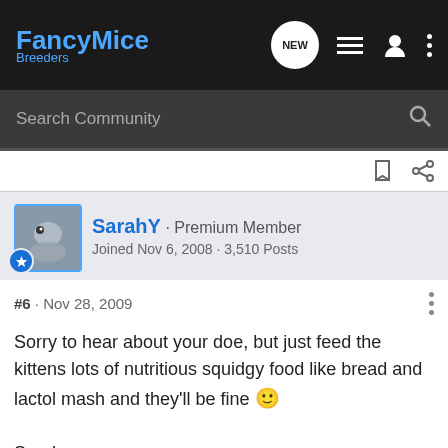FancyMice Breeders
Search Community
[Figure (screenshot): User avatar thumbnail showing a mouse/small animal]
SarahY · Premium Member
Joined Nov 6, 2008 · 3,510 Posts
#6 · Nov 28, 2009
Sorry to hear about your doe, but just feed the kittens lots of nutritious squidgy food like bread and lactol mash and they'll be fine 🙂

Sarah xxx
Blackthorn Stud - breeder and exhibitor of Dutch fancy mice